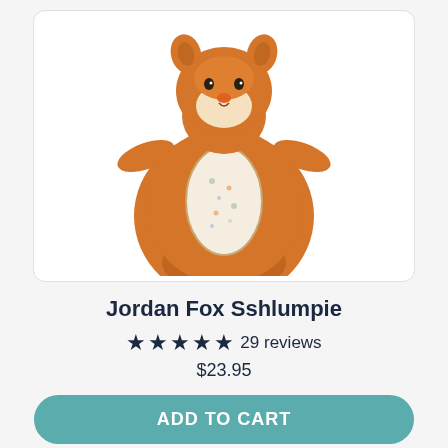[Figure (photo): Orange fox Sshlumpie stuffed animal toy with a flat blanket body, small arms, and a fox head with ears, nose, and eyes. The belly area has a cream/floral fabric insert.]
Jordan Fox Sshlumpie
★★★★★ 29 reviews
$23.95
ADD TO CART